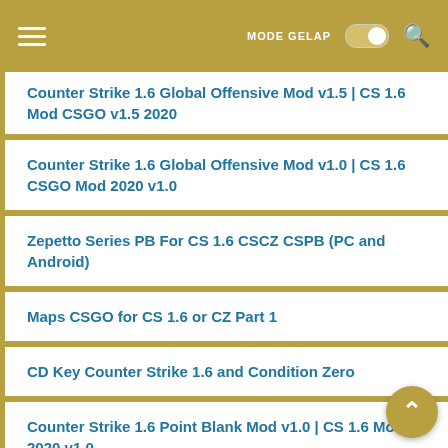MODE GELAP
Counter Strike 1.6 Global Offensive Mod v1.5 | CS 1.6 Mod CSGO v1.5 2020
Counter Strike 1.6 Global Offensive Mod v1.0 | CS 1.6 CSGO Mod 2020 v1.0
Zepetto Series PB For CS 1.6 CSCZ CSPB (PC and Android)
Maps CSGO for CS 1.6 or CZ Part 1
CD Key Counter Strike 1.6 and Condition Zero
Counter Strike 1.6 Point Blank Mod v1.0 | CS 1.6 Mod PB 2020 v1.0
CS 1.6 GO Mod v1.5 Update [PATCH 1.5.1]